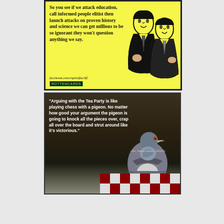[Figure (illustration): Yellow ecard with text 'So you see if we attack education, call informed people elitist then launch attacks on proven history and science we can get millions to be so ignorant they won't question anything we say.' with facebook.com/rightoffacliff and RottenECards branding, alongside retro illustration of two men in conversation.]
[Figure (photo): Photo of a pigeon on a chess board with white bold text overlay: '"Arguing with the Tea Party is like playing chess with a pigeon. No matter how good your argument the pigeon is going to knock all the pieces over, crap all over the board and strut around like it's victorious."' attributed to Ms. Claude Gimmie, 10/19/11]